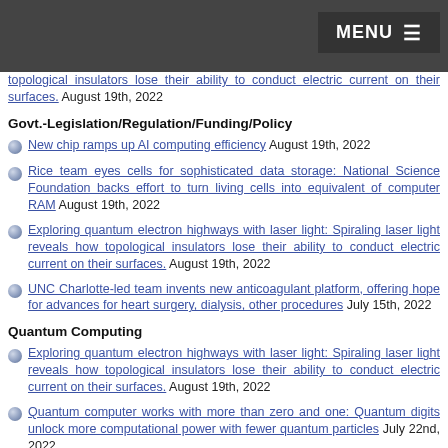topological insulators lose their ability to conduct electric current on their surfaces. August 19th, 2022
Govt.-Legislation/Regulation/Funding/Policy
New chip ramps up AI computing efficiency August 19th, 2022
Rice team eyes cells for sophisticated data storage: National Science Foundation backs effort to turn living cells into equivalent of computer RAM August 19th, 2022
Exploring quantum electron highways with laser light: Spiraling laser light reveals how topological insulators lose their ability to conduct electric current on their surfaces. August 19th, 2022
UNC Charlotte-led team invents new anticoagulant platform, offering hope for advances for heart surgery, dialysis, other procedures July 15th, 2022
Quantum Computing
Exploring quantum electron highways with laser light: Spiraling laser light reveals how topological insulators lose their ability to conduct electric current on their surfaces. August 19th, 2022
Quantum computer works with more than zero and one: Quantum digits unlock more computational power with fewer quantum particles July 22nd, 2022
Optical demonstration of quantum fault-tolerant threshold July 8th, 2022
CEA & Partners Present 'Powerful Step Towards Industrialization' Of Linear Si Quantum Dot Arrays Using FDSOI Material at VLSI Symposium: Invited paper reports 3-step characterization chain and resulting methodologies and metrics that accelerate learning, provide data on device pe June 17th, 2022
Sensors